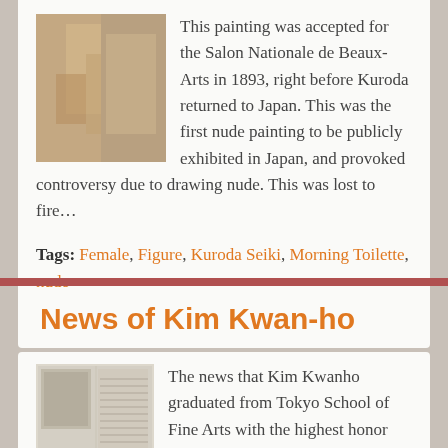This painting was accepted for the Salon Nationale de Beaux-Arts in 1893, right before Kuroda returned to Japan. This was the first nude painting to be publicly exhibited in Japan, and provoked controversy due to drawing nude. This was lost to fire…
Tags: Female, Figure, Kuroda Seiki, Morning Toilette, nude
News of Kim Kwan-ho
The news that Kim Kwanho graduated from Tokyo School of Fine Arts with the highest honor got into Maeilshinbo. The man in the right-lower side is Kim kwanho, and the news content is as follow. "Mr. Kim